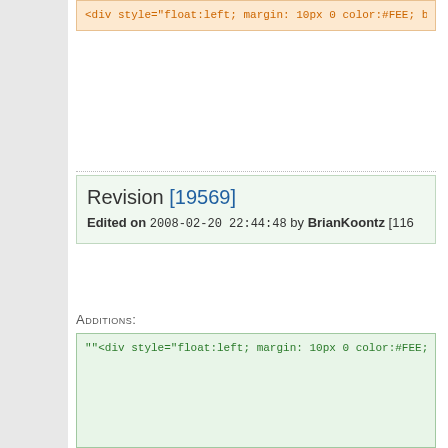[Figure (screenshot): Orange-background code block showing HTML snippet with float:left style, background-color:#FEE, border, Download either text, and href links to wikkawiki and wush.net]
Revision [19569]
Edited on 2008-02-20 22:44:48 by BrianKoontz [116...
Additions:
[Figure (screenshot): Green-background code block showing HTML additions with div style float:left, background-color:#FEE, border, Download either text, ul/li links to Wikka-1.1.6.4-rc1 downloads including tar.gz and zip with sha1/md5/asc links]